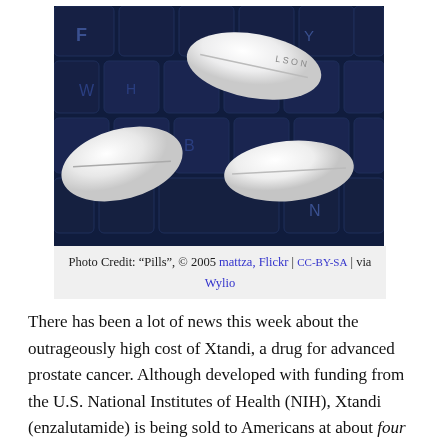[Figure (photo): Three white oval pills resting on a dark blue computer keyboard, close-up photograph.]
Photo Credit: “Pills”, © 2005 mattza, Flickr | CC-BY-SA | via Wylio
There has been a lot of news this week about the outrageously high cost of Xtandi, a drug for advanced prostate cancer. Although developed with funding from the U.S. National Institutes of Health (NIH), Xtandi (enzalutamide) is being sold to Americans at about four times the price at which it is sold in other countries.  In January, a petition was sent to have the U.S. government step in and require